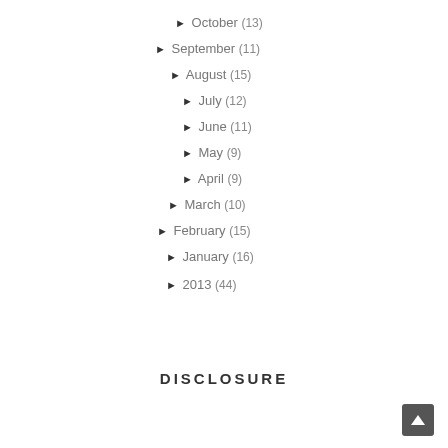► October (13)
► September (11)
► August (15)
► July (12)
► June (11)
► May (9)
► April (9)
► March (10)
► February (15)
► January (16)
► 2013 (44)
DISCLOSURE